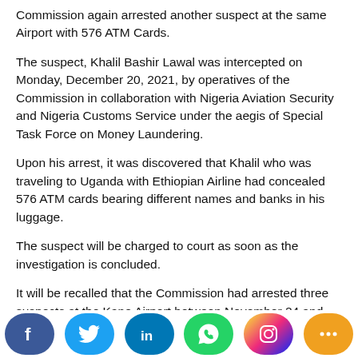Commission again arrested another suspect at the same Airport with 576 ATM Cards.
The suspect, Khalil Bashir Lawal was intercepted on Monday, December 20, 2021, by operatives of the Commission in collaboration with Nigeria Aviation Security and Nigeria Customs Service under the aegis of Special Task Force on Money Laundering.
Upon his arrest, it was discovered that Khalil who was traveling to Uganda with Ethiopian Airline had concealed 576 ATM cards bearing different names and banks in his luggage.
The suspect will be charged to court as soon as the investigation is concluded.
It will be recalled that the Commission had arrested three suspects at the Kano Airport between November 24 and December 1, 2021 while they were trying to smuggle a total of